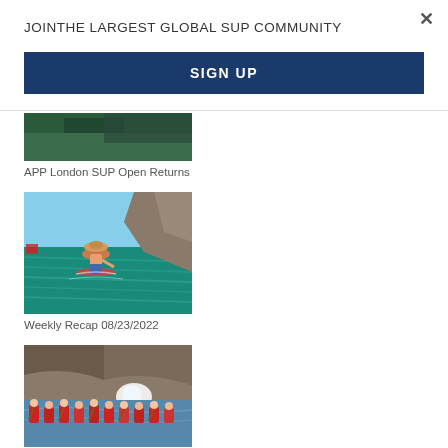×
JOINTHE LARGEST GLOBAL SUP COMMUNITY
SIGN UP
[Figure (photo): Partial aerial/landscape photo cropped at top, showing dark green foliage/landscape]
APP London SUP Open Returns
[Figure (photo): Man in hat standing on paddleboard on turquoise water near rocky cliff, viewed from behind]
Weekly Recap 08/23/2022
[Figure (photo): Group of people in red gear paddling kayaks/SUPs near rocky cliff with wave splash]